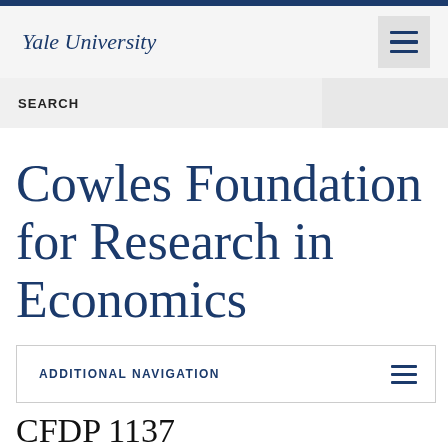Yale University
SEARCH
Cowles Foundation for Research in Economics
ADDITIONAL NAVIGATION
CFDP 1137